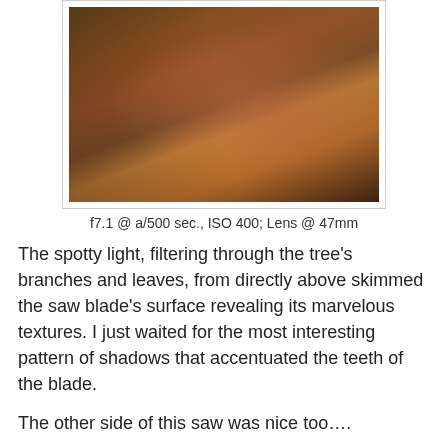[Figure (photo): Close-up photograph of a rusty saw blade or metal tool on a rusted metal surface, with warm brown and orange tones. Photo credit: Jerry W. Venz]
f7.1 @ a/500 sec., ISO 400; Lens @ 47mm
The spotty light, filtering through the tree's branches and leaves, from directly above skimmed the saw blade's surface revealing its marvelous textures. I just waited for the most interesting pattern of shadows that accentuated the teeth of the blade.
The other side of this saw was nice too….
[Figure (photo): Photograph showing the other side of a saw with mechanical parts including gears/wheels, with blue-green and brown tones. Watermark: (C) Jerry W. Venz]